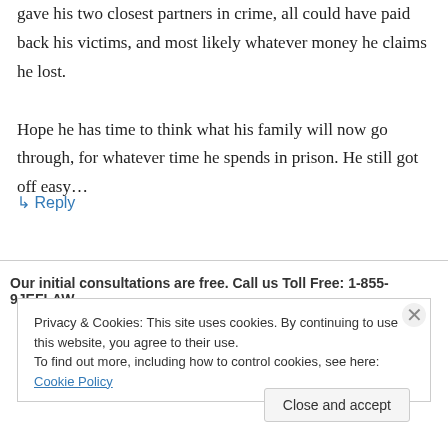gave his two closest partners in crime, all could have paid back his victims, and most likely whatever money he claims he lost.
Hope he has time to think what his family will now go through, for whatever time he spends in prison. He still got off easy…
↳ Reply
Our initial consultations are free. Call us Toll Free: 1-855-9JEFLAW
Privacy & Cookies: This site uses cookies. By continuing to use this website, you agree to their use.
To find out more, including how to control cookies, see here: Cookie Policy
Close and accept